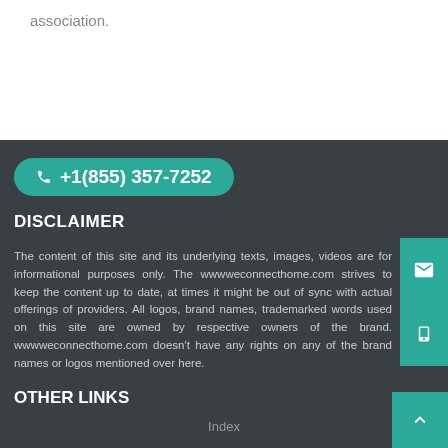association.
DISCLAIMER
The content of this site and its underlying texts, images, videos are for informational purposes only. The wwwweconnecthome.com strives to keep the content up to date, at times it might be out of sync with actual offerings of providers. All logos, brand names, trademarked words used on this site are owned by respective owners of the brand. wwwweconnecthome.com doesn't have any rights on any of the brand names or logos mentioned over here.
OTHER LINKS
Index